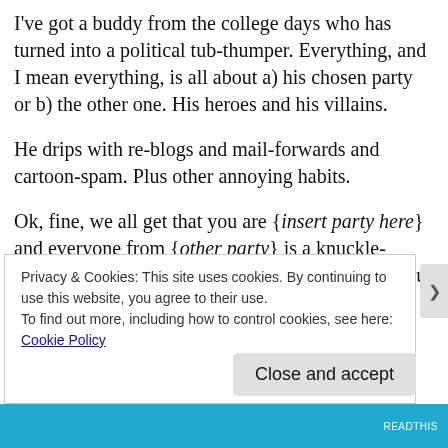I've got a buddy from the college days who has turned into a political tub-thumper. Everything, and I mean everything, is all about a) his chosen party or b) the other one. His heroes and his villains.
He drips with re-blogs and mail-forwards and cartoon-spam. Plus other annoying habits.
Ok, fine, we all get that you are {insert party here} and everyone from {other party} is a knuckle-dragging drooling criminal. We get it. You've told us twenty thousand times. Oop, new day, twenty thousand and fifty. This is how you spend your online hours, thumping
Privacy & Cookies: This site uses cookies. By continuing to use this website, you agree to their use.
To find out more, including how to control cookies, see here: Cookie Policy
Close and accept